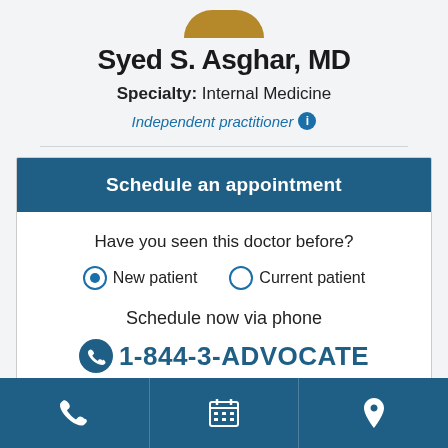[Figure (photo): Partial view of doctor's profile photo at the top, showing the top of a head]
Syed S. Asghar, MD
Specialty: Internal Medicine
Independent practitioner ℹ
Schedule an appointment
Have you seen this doctor before?
New patient   Current patient
Schedule now via phone
1-844-3-ADVOCATE